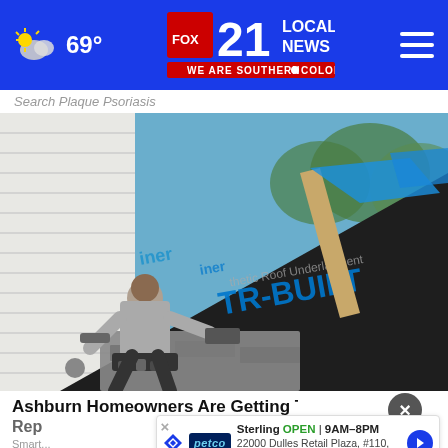FOX 21 LOCAL NEWS — WE ARE SOUTHERN COLORADO | 69°
Search Plaque Psoriasis
[Figure (photo): A roofer working on a residential roof, installing synthetic roof underlayment branded TR-BUILT, with roofing materials visible and a white clapboard siding house in background]
Ashburn Homeowners Are Getting Their Roofs Replaced For Almost Nothing
Smartasset
[Figure (other): Petco store ad banner showing Sterling location, OPEN 9AM-8PM, 22000 Dulles Retail Plaza, #110, S...]